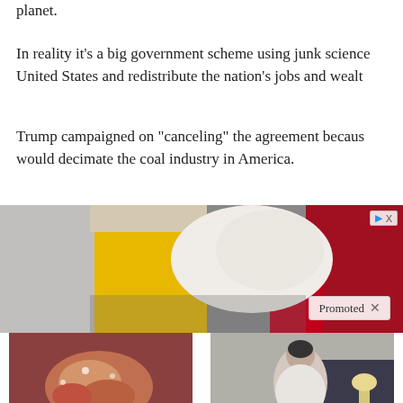planet.
In reality it’s a big government scheme using junk science to United States and redistribute the nation’s jobs and wealth.
Trump campaigned on “canceling” the agreement because would decimate the coal industry in America.
[Figure (photo): Advertisement banner with animal image and Promoted label]
[Figure (photo): Sponsored article thumbnail: close-up of biological/medical tissue]
Why Doctors In The Know No Longer Prescribe Metformin
🔥 110,932
[Figure (photo): Sponsored article thumbnail: elderly person sitting on bed]
How Your Body Warns You That Dementia Is Forming
🔥 55,252